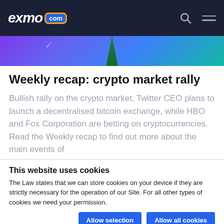EXMO.com
[Figure (illustration): Colorful purple, blue, and teal gradient hero banner with a dark green triangular shape (figure silhouette) in the center and small tick marks on the left.]
Weekly recap: crypto market rally
Bullish rally on the crypto market, Twitter CEO plans to launch a decentralised bitcoin exchange, while HBO and Fox Corporation are betting on cryptocurrencies. Read the Weekly recap to find out more about the main events of
This website uses cookies
The Law states that we can store cookies on your device if they are strictly necessary for the operation of our Site. For all other types of cookies we need your permission.
Allow selection   Allow all cookies
Necessary   Preferences   Statistics   Marketing   Show details